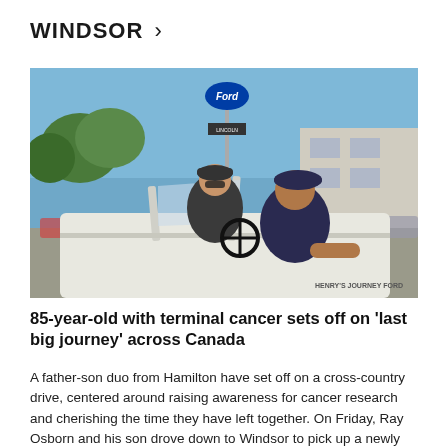WINDSOR >
[Figure (photo): Two elderly men sitting in a vintage white convertible car (1927 Ford Model A) in a parking lot with a Ford dealership sign visible in the background. Text on the car reads 'HENRY'S JOURNEY FORD'. Both men wear dark caps and t-shirts.]
85-year-old with terminal cancer sets off on 'last big journey' across Canada
A father-son duo from Hamilton have set off on a cross-country drive, centered around raising awareness for cancer research and cherishing the time they have left together. On Friday, Ray Osborn and his son drove down to Windsor to pick up a newly restored 1927 Ford Model A. The two are